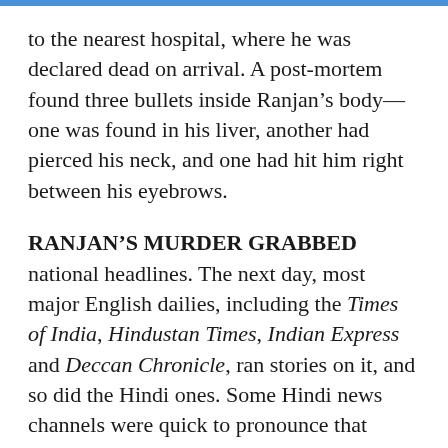to the nearest hospital, where he was declared dead on arrival. A post-mortem found three bullets inside Ranjan’s body—one was found in his liver, another had pierced his neck, and one had hit him right between his eyebrows.
RANJAN'S MURDER GRABBED national headlines. The next day, most major English dailies, including the Times of India, Hindustan Times, Indian Express and Deccan Chronicle, ran stories on it, and so did the Hindi ones. Some Hindi news channels were quick to pronounce that Ranjan had been murdered for his journalism. His employer, Hindustan, one of the largest-selling dailies in India, released its front page in black and white in protest...